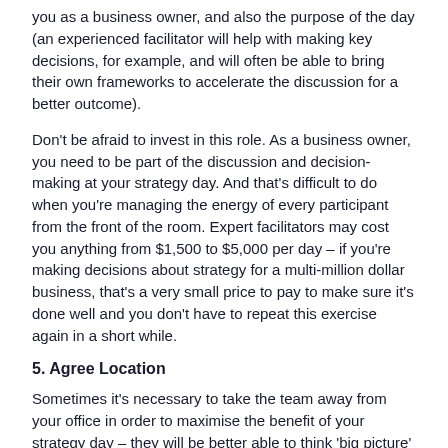you as a business owner, and also the purpose of the day (an experienced facilitator will help with making key decisions, for example, and will often be able to bring their own frameworks to accelerate the discussion for a better outcome).
Don't be afraid to invest in this role. As a business owner, you need to be part of the discussion and decision-making at your strategy day. And that's difficult to do when you're managing the energy of every participant from the front of the room. Expert facilitators may cost you anything from $1,500 to $5,000 per day – if you're making decisions about strategy for a multi-million dollar business, that's a very small price to pay to make sure it's done well and you don't have to repeat this exercise again in a short while.
5. Agree Location
Sometimes it's necessary to take the team away from your office in order to maximise the benefit of your strategy day – they will be better able to think 'big picture' if they're not surrounded by everyday décor, and they're